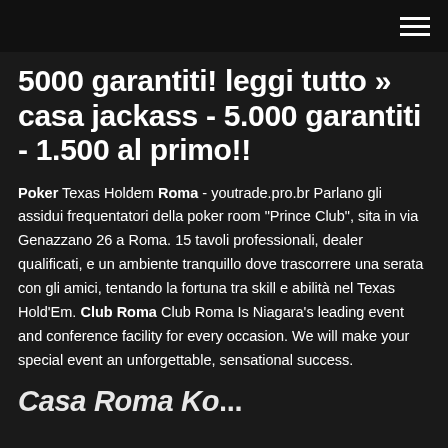[hamburger menu icon]
5000 garantiti! leggi tutto » casa jackass - 5.000 garantiti - 1.500 al primo!!
Poker Texas Holdem Roma - youtrade.pro.br Parlano gli assidui frequentatori della poker room "Prince Club", sita in via Genazzano 26 a Roma. 15 tavoli professionali, dealer qualificati, e un ambiente tranquillo dove trascorrere una serata con gli amici, tentando la fortuna tra skill e abilità nel Texas Hold'Em. Club Roma Club Roma Is Niagara's leading event and conference facility for every occasion. We will make your special event an unforgettable, sensational success.
Casa Roma Ko...